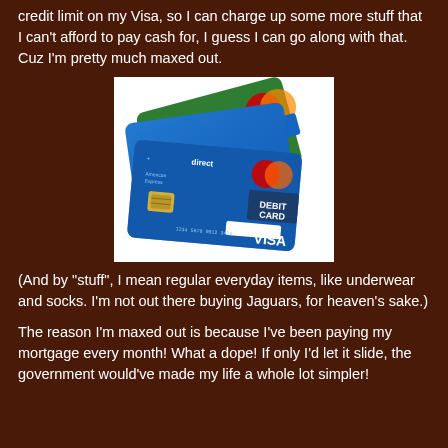credit limit on my Visa, so I can charge up some more stuff that I can't afford to pay cash for, I guess I can go along with that. Cuz I'm pretty much maxed out.
[Figure (photo): Stack of credit cards including a green MasterCard, a blue Visa card, and a blue debit card with Visa logo and Maestro branding from 'direct' bank.]
(And by "stuff", I mean regular everyday items, like underwear and socks. I'm not out there buying Jaguars, for heaven's sake.)
The reason I'm maxed out is because I've been paying my mortgage every month! What a dope! If only I'd let it slide, the government would've made my life a whole lot simpler!